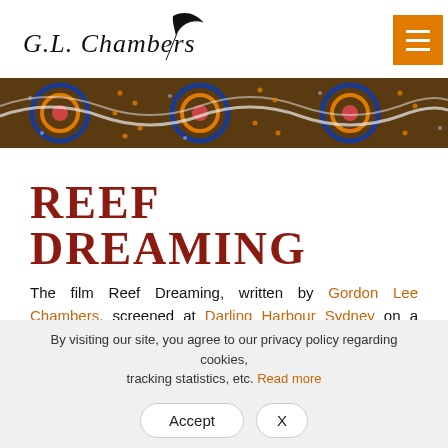G.L. Chambers
[Figure (illustration): Aboriginal dot art banner with circular patterns in blue, orange, brown, and white on dark background]
REEF DREAMING
The film Reef Dreaming, written by Gordon Lee Chambers, screened at Darling Harbour Sydney on a multi-story water screen during 1997 and 1998. Reef Dreaming is filmed at the Aboriginal Torres Strait...
By visiting our site, you agree to our privacy policy regarding cookies, tracking statistics, etc. Read more